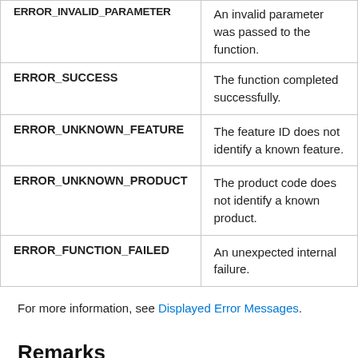| Error Code | Description |
| --- | --- |
| ERROR_INVALID_PARAMETER | An invalid parameter was passed to the function. |
| ERROR_SUCCESS | The function completed successfully. |
| ERROR_UNKNOWN_FEATURE | The feature ID does not identify a known feature. |
| ERROR_UNKNOWN_PRODUCT | The product code does not identify a known product. |
| ERROR_FUNCTION_FAILED | An unexpected internal failure. |
For more information, see Displayed Error Messages.
Remarks
The MsiQueryFeatureStateEx function does not validate